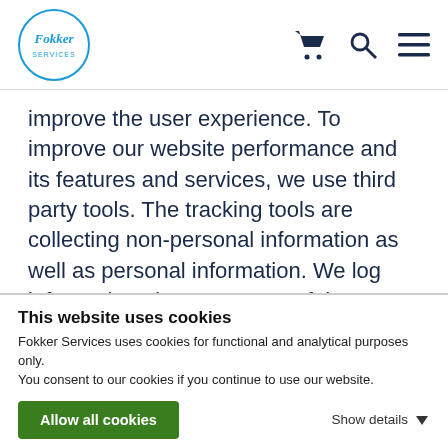[Figure (logo): Fokker Services logo in a blue circle]
improve the user experience. To improve our website performance and its features and services, we use third party tools. The tracking tools are collecting non-personal information as well as personal information. We log information about your use of the services, including the type of browser you use, access times, pages viewed, your IP address, your general location and the page you visited before navigating to our Services. Further, we collect information about the computer or mobile device you
This website uses cookies
Fokker Services uses cookies for functional and analytical purposes only. You consent to our cookies if you continue to use our website.